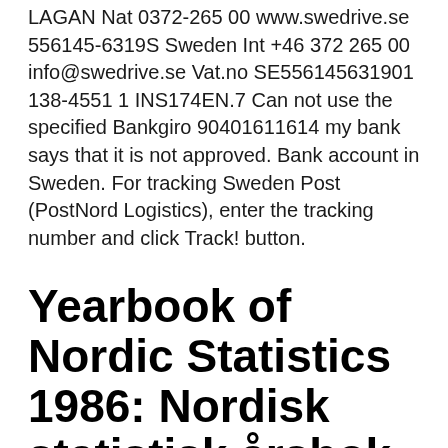LAGAN Nat 0372-265 00 www.swedrive.se 556145-6319S Sweden Int +46 372 265 00 info@swedrive.se Vat.no SE556145631901 138-4551 1 INS174EN.7 Can not use the specified Bankgiro 90401611614 my bank says that it is not approved. Bank account in Sweden. For tracking Sweden Post (PostNord Logistics), enter the tracking number and click Track! button.
Yearbook of Nordic Statistics 1986: Nordisk statistisk årsbok
Corporate identifier Få huvudmannens post till din adress Skicka post till någon med skyddade